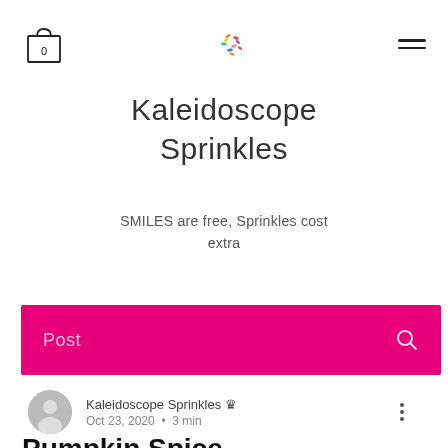[Figure (logo): Shopping bag icon with '0' label and colorful sprinkles logo in center, hamburger menu on right]
Kaleidoscope Sprinkles
SMILES are free, Sprinkles cost extra
Post
Kaleidoscope Sprinkles 👑
Oct 23, 2020 • 3 min
Pumpkin Spice Bejanets with